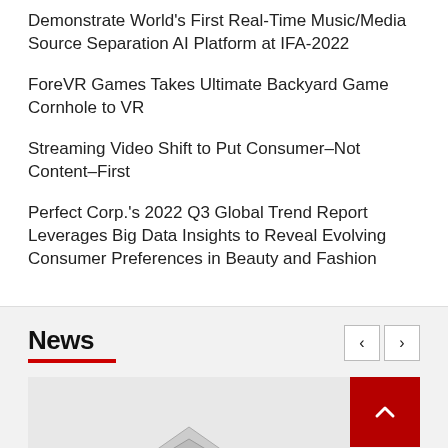Demonstrate World’s First Real-Time Music/Media Source Separation AI Platform at IFA-2022
ForeVR Games Takes Ultimate Backyard Game Cornhole to VR
Streaming Video Shift to Put Consumer–Not Content–First
Perfect Corp.’s 2022 Q3 Global Trend Report Leverages Big Data Insights to Reveal Evolving Consumer Preferences in Beauty and Fashion
News
[Figure (photo): News section card image area with a partially visible logo/graphic at the bottom center]